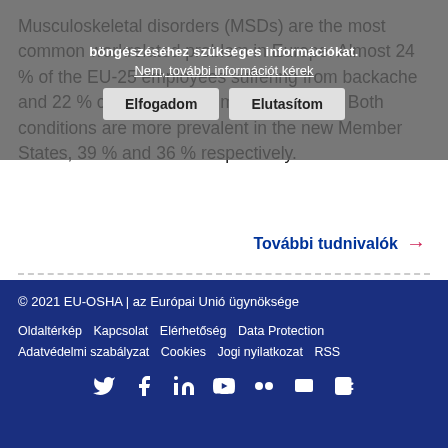Musculoskeletal disorders (MSDs) are the most common workrelated problem in Europe. Almost 24 % of the EU-25 employees suffering from backache and 22 % complain about muscular pains. Both conditions are more prevalent in the new Member States, 39 % and 36 % respectively.
További tudnivalók →
© 2021 EU-OSHA | az Európai Unió ügynöksége
Oldaltérkép   Kapcsolat   Elérhetőség   Data Protection
Adatvédelmi szabályzat   Cookies   Jogi nyilatkozat   RSS